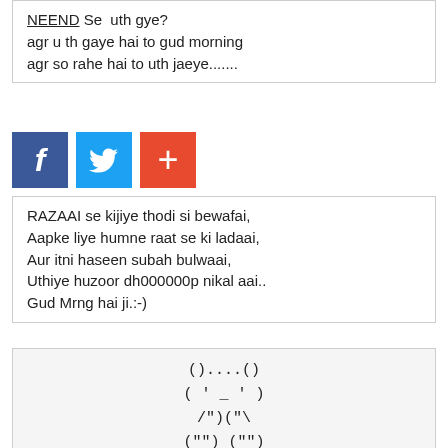NEEND Se uth gye?
agr u th gaye hai to gud morning
agr so rahe hai to uth jaeye.......
[Figure (other): Social share buttons: Facebook (blue), Twitter (light blue), Plus/Add (orange-red)]
RAZAAI se kijiye thodi si bewafai,
Aapke liye humne raat se ki ladaai,
Aur itni haseen subah bulwaai,
Uthiye huzoor dh000000p nikal aai..
Gud Mrng hai ji.:-)
()....() 
( ' _ ' )
/")("\  
("") ("")
Lo Karlo Baat, Hum